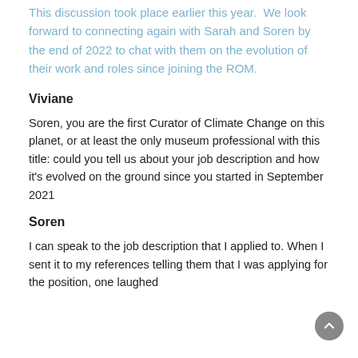This discussion took place earlier this year.  We look forward to connecting again with Sarah and Soren by the end of 2022 to chat with them on the evolution of their work and roles since joining the ROM.
Viviane
Soren, you are the first Curator of Climate Change on this planet, or at least the only museum professional with this title: could you tell us about your job description and how it's evolved on the ground since you started in September 2021
Soren
I can speak to the job description that I applied to. When I sent it to my references telling them that I was applying for the position, one laughed